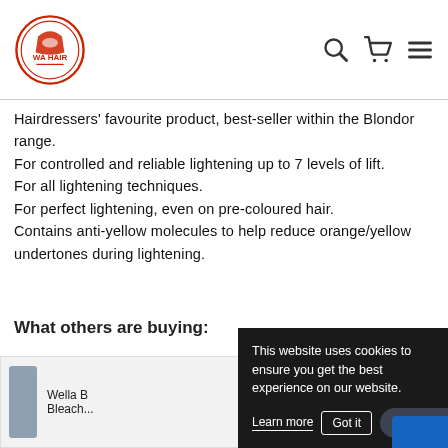WA HAIR
Hairdressers' favourite product, best-seller within the Blondor range.
For controlled and reliable lightening up to 7 levels of lift.
For all lightening techniques.
For perfect lightening, even on pre-coloured hair.
Contains anti-yellow molecules to help reduce orange/yellow undertones during lightening.
What others are buying:
[Figure (screenshot): Cookie consent popup overlay on e-commerce website with cookie notice text, Learn more, Got it, and Chat with us buttons]
Wella B… Bleach...